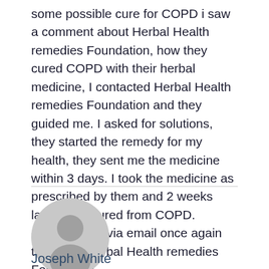some possible cure for COPD i saw a comment about Herbal Health remedies Foundation, how they cured COPD with their herbal medicine, I contacted Herbal Health remedies Foundation and they guided me. I asked for solutions, they started the remedy for my health, they sent me the medicine within 3 days. I took the medicine as prescribed by them and 2 weeks later i was cured from COPD. contact them via email once again thanks to Herbal Health remedies Foundation.
[Figure (illustration): Generic user avatar icon — circular grey silhouette of a person]
Joseph White